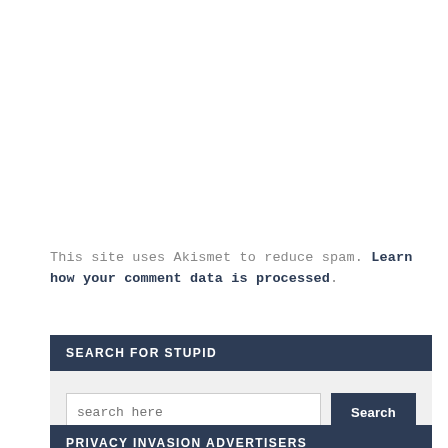This site uses Akismet to reduce spam. Learn how your comment data is processed.
SEARCH FOR STUPID
search here [Search button]
PRIVACY INVASION ADVERTISERS